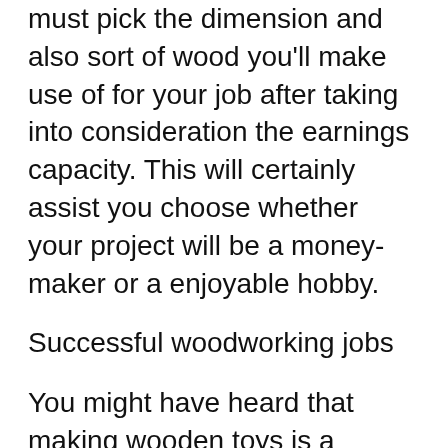must pick the dimension and also sort of wood you'll make use of for your job after taking into consideration the earnings capacity. This will certainly assist you choose whether your project will be a money-maker or a enjoyable hobby.
Successful woodworking jobs
You might have heard that making wooden toys is a lucrative woodworking task. It is true! Wood toys always offer, and you can conveniently value them for a profit when you've invested some time making them. Nevertheless, some toys might call for more initiative than others. They may additionally require even more design job, however all of them can be rewarding woodworking tasks